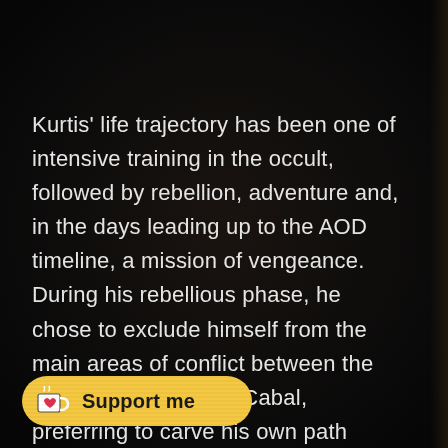Kurtis' life trajectory has been one of intensive training in the occult, followed by rebellion, adventure and, in the days leading up to the AOD timeline, a mission of vengeance. During his rebellious phase, he chose to exclude himself from the main areas of conflict between the Lux Veritatis and the Cabal, preferring to carve his own path through life. However, when his father was treacherously murdered, he determined to track down those responsible – in particular, the insane Black Alchemist, Pieter van Eckhardt. One way to bring this monstrous entity to retribution will be to gather all ards.